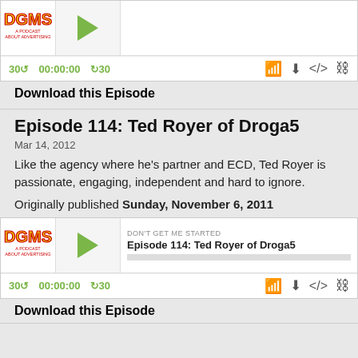[Figure (screenshot): DGMS podcast player at the top of the page showing a previous episode]
Download this Episode
Episode 114: Ted Royer of Droga5
Mar 14, 2012
Like the agency where he's partner and ECD, Ted Royer is passionate, engaging, independent and hard to ignore.
Originally published Sunday, November 6, 2011
[Figure (screenshot): DGMS podcast player for Episode 114: Ted Royer of Droga5]
Download this Episode